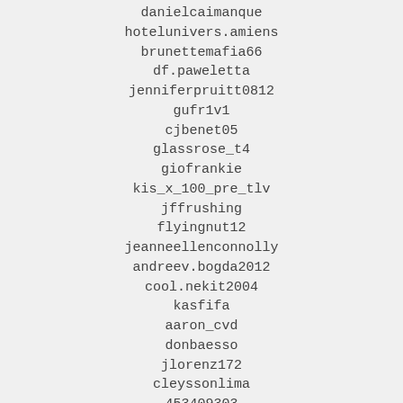danielcaimanque
hotelunivers.amiens
brunettemafia66
df.paweletta
jenniferpruitt0812
gufr1v1
cjbenet05
glassrose_t4
giofrankie
kis_x_100_pre_tlv
jffrushing
flyingnut12
jeanneellenconnolly
andreev.bogda2012
cool.nekit2004
kasfifa
aaron_cvd
donbaesso
jlorenz172
cleyssonlima
453409303
alex.94_smile
kcbeardenfamily
chompchamp_z